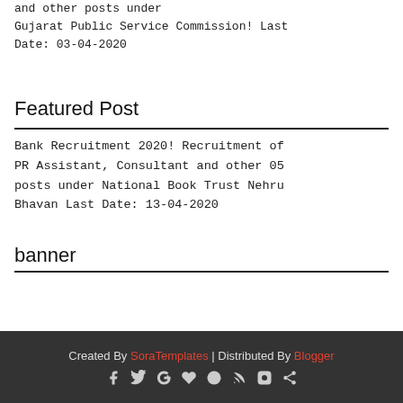and other posts under Gujarat Public Service Commission! Last Date: 03-04-2020
Featured Post
Bank Recruitment 2020! Recruitment of PR Assistant, Consultant and other 05 posts under National Book Trust Nehru Bhavan Last Date: 13-04-2020
banner
Created By SoraTemplates | Distributed By Blogger